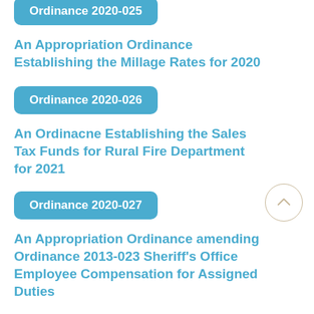Ordinance 2020-025
An Appropriation Ordinance Establishing the Millage Rates for 2020
Ordinance 2020-026
An Ordinacne Establishing the Sales Tax Funds for Rural Fire Department for 2021
Ordinance 2020-027
An Appropriation Ordinance amending Ordinance 2013-023 Sheriff's Office Employee Compensation for Assigned Duties